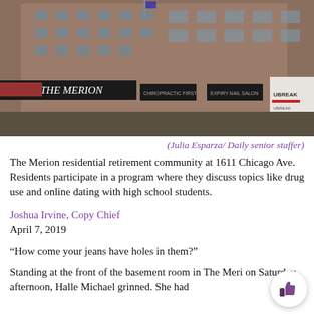[Figure (photo): Exterior photo of The Merion residential retirement community building at 1611 Chicago Ave, a brick building with black awnings and UBREAK store visible on the right.]
(Julia Esparza/ Daily senior staffer)
The Merion residential retirement community at 1611 Chicago Ave. Residents participate in a program where they discuss topics like drug use and online dating with high school students.
Joshua Irvine, Copy Chief
April 7, 2019
“How come your jeans have holes in them?”
Standing at the front of the basement room in The Meri on Saturday afternoon, Halle Michael grinned. She had